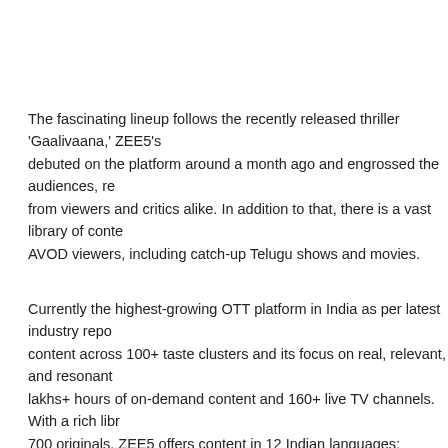The fascinating lineup follows the recently released thriller 'Gaalivaana,' ZEE5's debuted on the platform around a month ago and engrossed the audiences, re from viewers and critics alike. In addition to that, there is a vast library of conte AVOD viewers, including catch-up Telugu shows and movies.
Currently the highest-growing OTT platform in India as per latest industry repo content across 100+ taste clusters and its focus on real, relevant, and resonant lakhs+ hours of on-demand content and 160+ live TV channels. With a rich libr 700 originals, ZEE5 offers content in 12 Indian languages: English, Hindi, Beng Marathi, Oriya, Bhojpuri, Gujarati, and Punjabi. The platform has an exciting line- library of content, offering a wider array of catalogue to entertainment seekers.